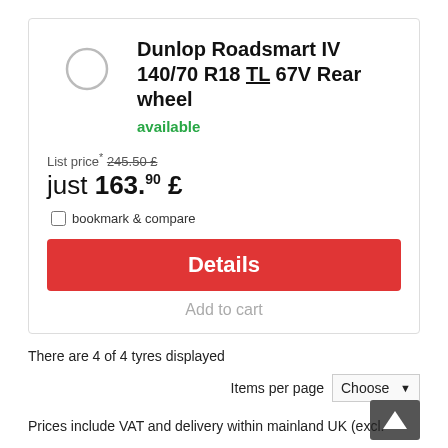Dunlop Roadsmart IV 140/70 R18 TL 67V Rear wheel
available
List price* 245.50 £
just 163.90 £
bookmark & compare
Details
Add to cart
There are 4 of 4 tyres displayed
Items per page  Choose
Prices include VAT and delivery within mainland UK (excl.